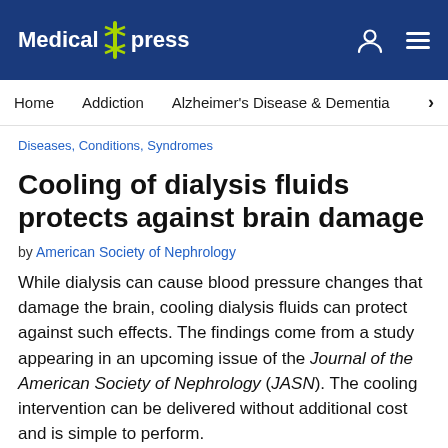Medical Xpress
Home  Addiction  Alzheimer's Disease & Dementia  >
Diseases, Conditions, Syndromes
Cooling of dialysis fluids protects against brain damage
by American Society of Nephrology
While dialysis can cause blood pressure changes that damage the brain, cooling dialysis fluids can protect against such effects. The findings come from a study appearing in an upcoming issue of the Journal of the American Society of Nephrology (JASN). The cooling intervention can be delivered without additional cost and is simple to perform.